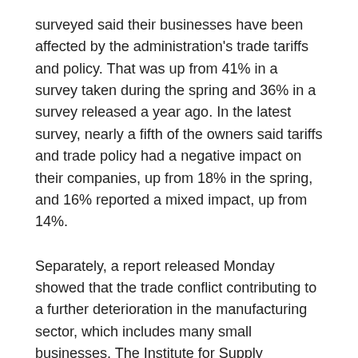surveyed said their businesses have been affected by the administration's trade tariffs and policy. That was up from 41% in a survey taken during the spring and 36% in a survey released a year ago. In the latest survey, nearly a fifth of the owners said tariffs and trade policy had a negative impact on their companies, up from 18% in the spring, and 16% reported a mixed impact, up from 14%.
Separately, a report released Monday showed that the trade conflict contributing to a further deterioration in the manufacturing sector, which includes many small businesses. The Institute for Supply Management, an industry organization for corporate purchasing executives, said its index of manufacturing activity fell to 48.1 in November from 48.3 in October. Any reading below 50 signals a contraction in manufacturing; the index has fallen since August.